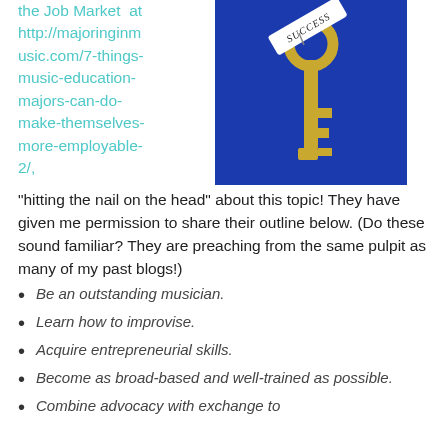the Job Market at http://majoringinmusic.com/7-things-music-education-majors-can-do-make-themselves-more-employable-2/
[Figure (photo): A gold key with a paper tag labeled 'SUCCESS' against a blue background.]
“hitting the nail on the head” about this topic! They have given me permission to share their outline below. (Do these sound familiar? They are preaching from the same pulpit as many of my past blogs!)
Be an outstanding musician.
Learn how to improvise.
Acquire entrepreneurial skills.
Become as broad-based and well-trained as possible.
Combine advocacy with exchange to